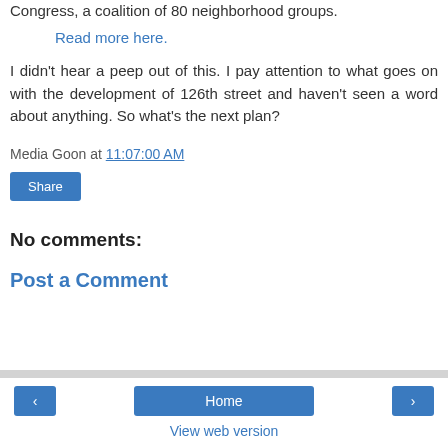Congress, a coalition of 80 neighborhood groups.
Read more here.
I didn't hear a peep out of this. I pay attention to what goes on with the development of 126th street and haven't seen a word about anything. So what's the next plan?
Media Goon at 11:07:00 AM
Share
No comments:
Post a Comment
‹  Home  ›  View web version